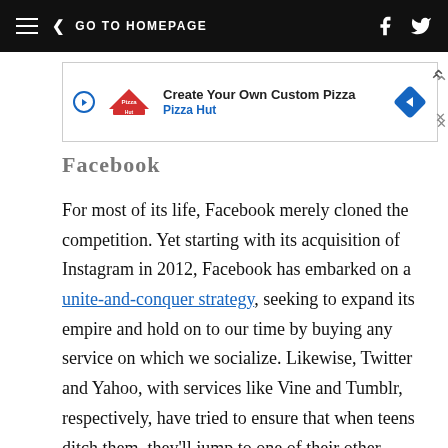GO TO HOMEPAGE
[Figure (infographic): Pizza Hut advertisement banner: Create Your Own Custom Pizza]
Facebook
For most of its life, Facebook merely cloned the competition. Yet starting with its acquisition of Instagram in 2012, Facebook has embarked on a unite-and-conquer strategy, seeking to expand its empire and hold on to our time by buying any service on which we socialize. Likewise, Twitter and Yahoo, with services like Vine and Tumblr, respectively, have tried to ensure that when teens ditch them, they'll jump to one of their other offerings. It's the fashion world's model, adapted for tech: Social networks are seasonal,